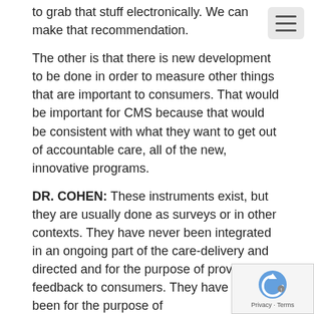to grab that stuff electronically. We can make that recommendation.
The other is that there is new development to be done in order to measure other things that are important to consumers. That would be important for CMS because that would be consistent with what they want to get out of accountable care, all of the new, innovative programs.
DR. COHEN: These instruments exist, but they are usually done as surveys or in other contexts. They have never been integrated in an ongoing part of the care-delivery and directed and for the purpose of providing feedback to consumers. They have always been for the purpose of